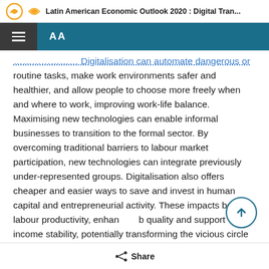Latin American Economic Outlook 2020 : Digital Tran...
Digitalisation can automate dangerous or routine tasks, make work environments safer and healthier, and allow people to choose more freely when and where to work, improving work-life balance. Maximising new technologies can enable informal businesses to transition to the formal sector. By overcoming traditional barriers to labour market participation, new technologies can integrate previously under-represented groups. Digitalisation also offers cheaper and easier ways to save and invest in human capital and entrepreneurial activity. These impacts boost labour productivity, enhance job quality and support income stability, potentially transforming the vicious circle of low productivity,
Share